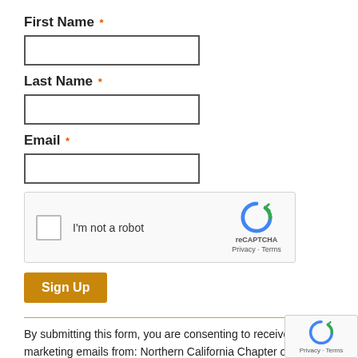First Name *
[Figure (other): Empty text input field for First Name]
Last Name *
[Figure (other): Empty text input field for Last Name]
Email *
[Figure (other): Empty text input field for Email]
[Figure (other): reCAPTCHA widget: checkbox labeled 'I'm not a robot' with reCAPTCHA logo, Privacy and Terms links]
Sign Up
By submitting this form, you are consenting to receive marketing emails from: Northern California Chapter of American Planning Association, 100 Howe Avenue #180, Sacramento, CA, 95825. You can revoke your consent to